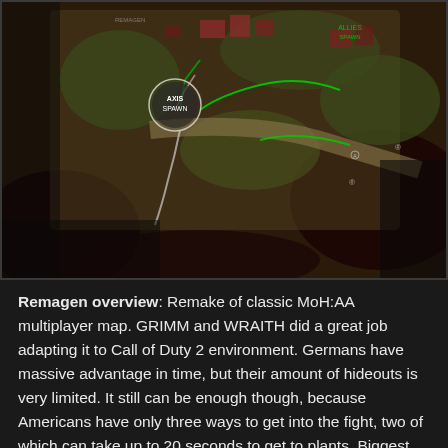[Figure (map): Top-down overhead map view of the Remagen multiplayer map from Call of Duty 2. Shows terrain with browns, greens, and dark water/shadows. An 'AXIS SPAWN' label with a circle marker is visible on the left side. Green lines indicate routes. Various buildings and structures are visible.]
Remagen overview: Remake of classic MoH:AA multiplayer map. GRIMM and WRAITH did a great job adapting it to Call of Duty 2 environment. Germans have massive advantage in time, but their amount of hideouts is very limited. It still can be enough though, because Americans have only three ways to get into the fight, two of which can take up to 20 seconds to get to plants. Biggest firefight is expected to take place on the middle road, like on Matmata. The path leading Allies to B site through alleys has a unique style that never occured in COD2 - short, narrow and with quite